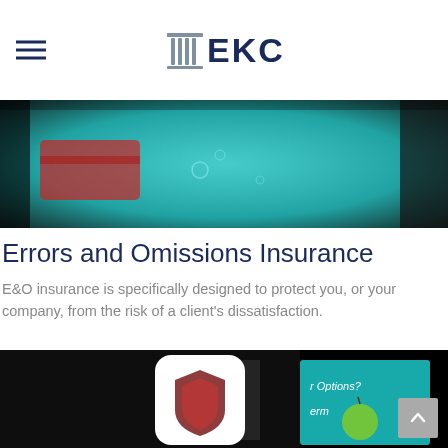EKC
[Figure (photo): Close-up photo of a credit card in water with bubbles, teal/turquoise background, dark edges]
Errors and Omissions Insurance
E&O insurance is specifically designed to protect you, or your company, from the risk of a client's dissatisfaction.
[Figure (photo): Dark photo of insurance-related books/materials with a white rounded-square icon showing a shield/badge. Text partially visible: 'Options?' on teal background with an apple. Scroll-to-top button in bottom right corner.]